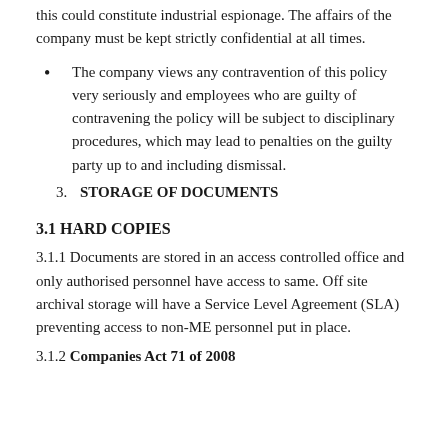this could constitute industrial espionage. The affairs of the company must be kept strictly confidential at all times.
The company views any contravention of this policy very seriously and employees who are guilty of contravening the policy will be subject to disciplinary procedures, which may lead to penalties on the guilty party up to and including dismissal.
3. STORAGE OF DOCUMENTS
3.1 HARD COPIES
3.1.1 Documents are stored in an access controlled office and only authorised personnel have access to same. Off site archival storage will have a Service Level Agreement (SLA) preventing access to non-ME personnel put in place.
3.1.2 Companies Act 71 of 2008